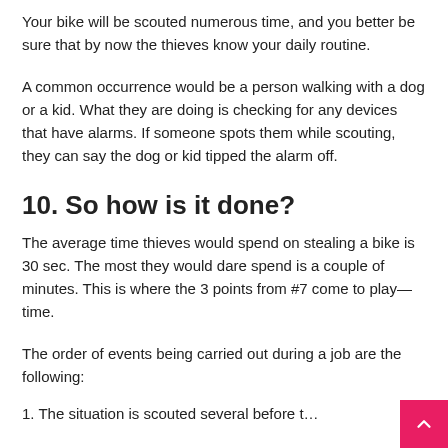Your bike will be scouted numerous time, and you better be sure that by now the thieves know your daily routine.
A common occurrence would be a person walking with a dog or a kid. What they are doing is checking for any devices that have alarms. If someone spots them while scouting, they can say the dog or kid tipped the alarm off.
10. So how is it done?
The average time thieves would spend on stealing a bike is 30 sec. The most they would dare spend is a couple of minutes. This is where the 3 points from #7 come to play—time.
The order of events being carried out during a job are the following:
1. The situation is scouted several before t...